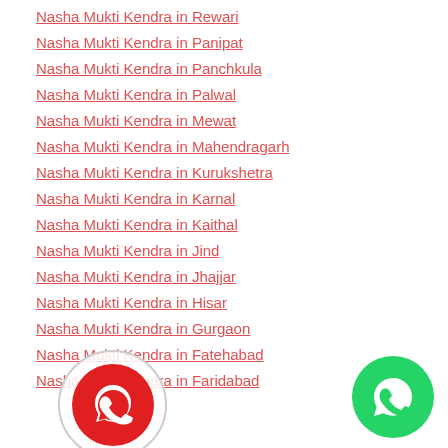Nasha Mukti Kendra in Rewari
Nasha Mukti Kendra in Panipat
Nasha Mukti Kendra in Panchkula
Nasha Mukti Kendra in Palwal
Nasha Mukti Kendra in Mewat
Nasha Mukti Kendra in Mahendragarh
Nasha Mukti Kendra in Kurukshetra
Nasha Mukti Kendra in Karnal
Nasha Mukti Kendra in Kaithal
Nasha Mukti Kendra in Jind
Nasha Mukti Kendra in Jhajjar
Nasha Mukti Kendra in Hisar
Nasha Mukti Kendra in Gurgaon
Nasha Mukti Kendra in Fatehabad
Nasha Mukti Kendra in Faridabad
[Figure (illustration): Red WhatsApp chat button circle overlay on the left side of the page]
[Figure (illustration): Green WhatsApp button circle in the bottom right corner]